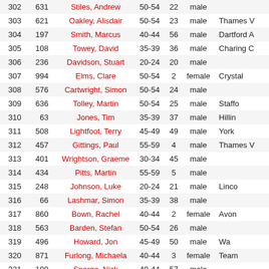| Pos | Bib | Name | Age Cat | Cat Pos | Gender | Club |
| --- | --- | --- | --- | --- | --- | --- |
| 302 | 631 | Stiles, Andrew | 50-54 | 22 | male |  |
| 303 | 621 | Oakley, Alisdair | 50-54 | 23 | male | Thames V |
| 304 | 197 | Smith, Marcus | 40-44 | 56 | male | Dartford A |
| 305 | 108 | Towey, David | 35-39 | 36 | male | Charing C |
| 306 | 236 | Davidson, Stuart | 20-24 | 20 | male |  |
| 307 | 994 | Elms, Clare | 50-54 | 2 | female | Crystal |
| 308 | 576 | Cartwright, Simon | 50-54 | 24 | male |  |
| 309 | 636 | Tolley, Martin | 50-54 | 25 | male | Staffo |
| 310 | 63 | Jones, Tim | 35-39 | 37 | male | Hillin |
| 311 | 508 | Lightfoot, Terry | 45-49 | 49 | male | York |
| 312 | 457 | Gittings, Paul | 55-59 | 4 | male | Thames V |
| 313 | 401 | Wrightson, Graeme | 30-34 | 45 | male |  |
| 314 | 434 | Pitts, Martin | 55-59 | 5 | male |  |
| 315 | 248 | Johnson, Luke | 20-24 | 21 | male | Linco |
| 316 | 66 | Lashmar, Simon | 35-39 | 38 | male |  |
| 317 | 860 | Bown, Rachel | 40-44 | 2 | female | Avon |
| 318 | 563 | Barden, Stefan | 50-54 | 26 | male |  |
| 319 | 496 | Howard, Jon | 45-49 | 50 | male | Wa |
| 320 | 871 | Furlong, Michaela | 40-44 | 3 | female | Team |
| 321 | 199 | Spargo, Nick | 40-44 | 57 | male |  |
| 322 | 413 | Farmer, Stirling | 55-59 | 6 | male |  |
| 323 | 461 | Ashton, Neil | 45-49 | 51 | male |  |